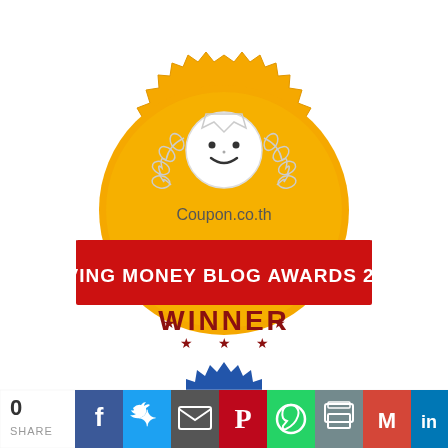[Figure (illustration): Gold serrated badge/seal with a smiley face mascot wearing a crown and laurel wreath, text 'Coupon.co.th', a red ribbon banner reading 'SAVING MONEY BLOG AWARDS 2017', and 'WINNER' text with decorative stars in dark red. Below is a partial blue badge. A social share bar at the bottom shows share count 0 and icons for Facebook, Twitter, Email, Pinterest, WhatsApp, Print, Gmail, LinkedIn, Google+.]